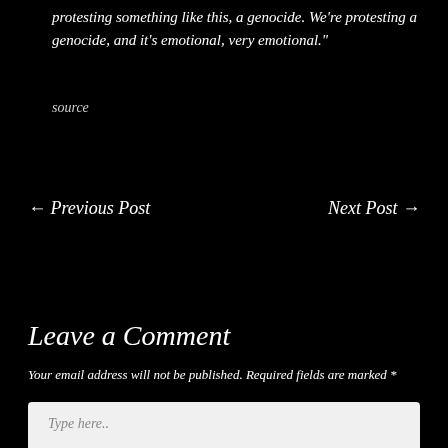protesting something like this, a genocide. We're protesting a genocide, and it's emotional, very emotional."
source
← Previous Post
Next Post →
Leave a Comment
Your email address will not be published. Required fields are marked *
Type here..